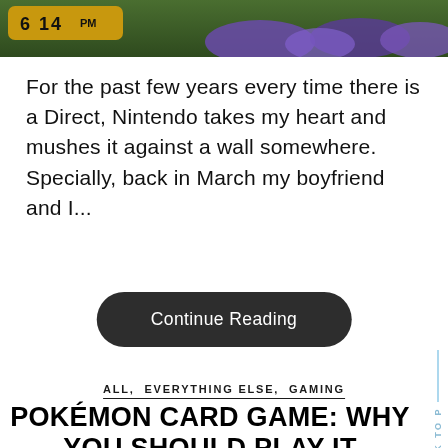[Figure (screenshot): Cropped screenshot of a Nintendo game showing a time display '6 14PM' in a golden badge on a dark green background with purple blob shapes]
For the past few years every time there is a Direct, Nintendo takes my heart and mushes it against a wall somewhere. Specially, back in March my boyfriend and I...
Continue Reading
ALL,  EVERYTHING ELSE,  GAMING
POKÉMON CARD GAME: WHY YOU SHOULD PLAY IT
June 8, 2018  by Chloe Ward
BACK TO P